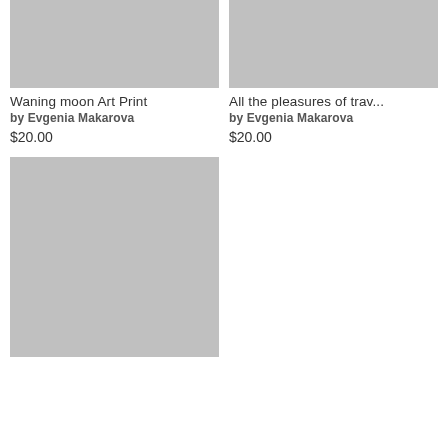[Figure (photo): Gray placeholder image for Waning moon Art Print product]
Waning moon Art Print
by Evgenia Makarova
$20.00
[Figure (photo): Gray placeholder image for All the pleasures of trav... product]
All the pleasures of trav...
by Evgenia Makarova
$20.00
[Figure (photo): Gray placeholder image for third product (partially visible, title cut off)]
Wa...